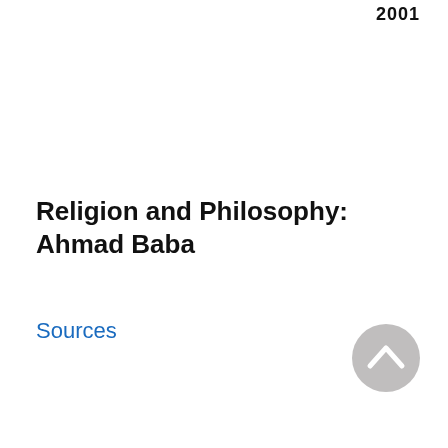2001
Religion and Philosophy: Ahmad Baba
Sources